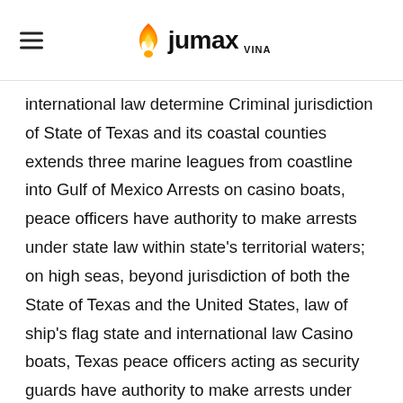jumax VINA
international law determine Criminal jurisdiction of State of Texas and its coastal counties extends three marine leagues from coastline into Gulf of Mexico Arrests on casino boats, peace officers have authority to make arrests under state law within state's territorial waters; on high seas, beyond jurisdiction of both the State of Texas and the United States, law of ship's flag state and international law Casino boats, Texas peace officers acting as security guards have authority to make arrests under state law within state's territorial waters; on the high seas, beyond jurisdiction of both the State of Texas and the United States, the law of ship's flag s. Whether it's a classic,